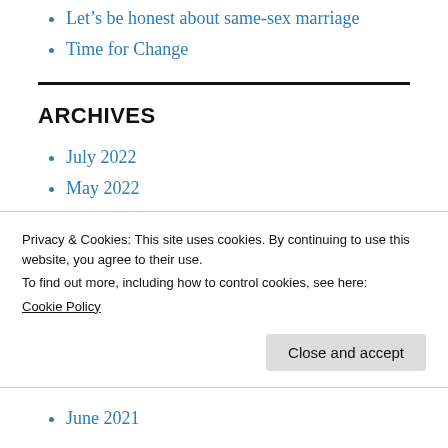Let's be honest about same-sex marriage
Time for Change
ARCHIVES
July 2022
May 2022
March 2022
Privacy & Cookies: This site uses cookies. By continuing to use this website, you agree to their use.
To find out more, including how to control cookies, see here: Cookie Policy
June 2021